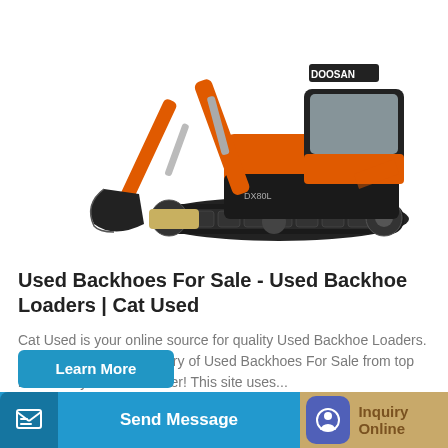[Figure (photo): Orange and black Doosan mini excavator on white background, shown in profile view with bucket arm extended to the left and blade at front.]
Used Backhoes For Sale - Used Backhoe Loaders | Cat Used
Cat Used is your online source for quality Used Backhoe Loaders. Browse our large inventory of Used Backhoes For Sale from top brands at your local dealer! This site uses...
Learn More
Send Message
Inquiry Online